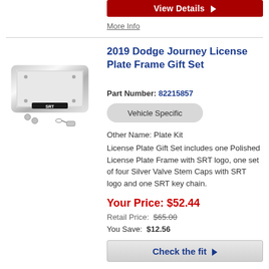View Details ▶
More Info
2019 Dodge Journey License Plate Frame Gift Set
Part Number: 82215857
Vehicle Specific
Other Name: Plate Kit
License Plate Gift Set includes one Polished License Plate Frame with SRT logo, one set of four Silver Valve Stem Caps with SRT logo and one SRT key chain.
Your Price: $52.44
Retail Price: $65.00
You Save: $12.56
Check the fit ▶
[Figure (photo): Product photo of a chrome license plate frame with SRT logo, valve stem caps, and keychain]
View Details ▶
More Info